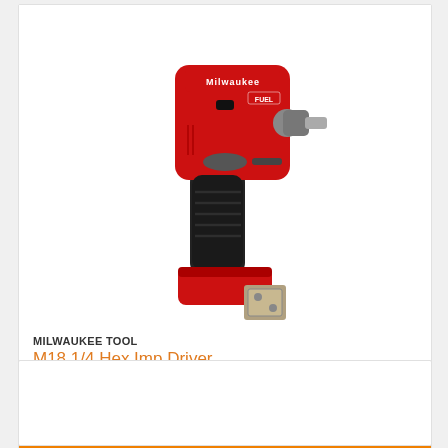[Figure (photo): Milwaukee M18 FUEL 1/4 Hex Impact Driver tool in red and black, shown from a slight angle, with a metal clip accessory attached. The tool shows the Milwaukee and FUEL branding on top.]
MILWAUKEE TOOL
M18 1/4 Hex Imp Driver
MODEL #: 2853-20
$ 159.68
ADD TO CART